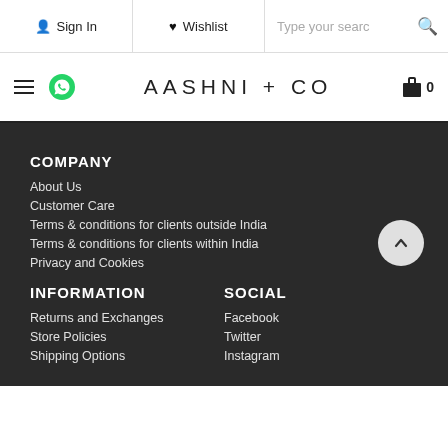Sign In | Wishlist | Type your search
AASHNI + CO
COMPANY
About Us
Customer Care
Terms & conditions for clients outside India
Terms & conditions for clients within India
Privacy and Cookies
INFORMATION
Returns and Exchanges
Store Policies
Shipping Options
SOCIAL
Facebook
Twitter
Instagram